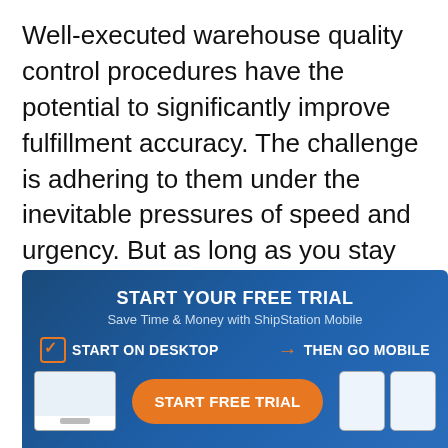Well-executed warehouse quality control procedures have the potential to significantly improve fulfillment accuracy. The challenge is adhering to them under the inevitable pressures of speed and urgency. But as long as you stay committed, your employees will follow suit.
[Figure (infographic): ShipStation advertisement banner with dark blue gradient background. Header reads 'START YOUR FREE TRIAL' in bold white text, subtitle 'Save Time & Money with ShipStation Mobile'. Below shows 'START ON DESKTOP' with checkmark icon on the left, orange arrow with 'THEN GO MOBILE' on the right. Bottom row shows a desktop device image, orange 'START FREE TRIAL' button, and two phone device images.]